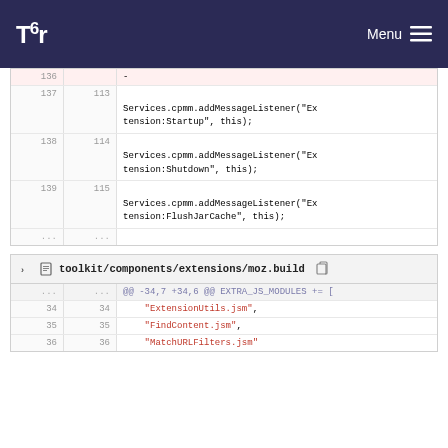Tor | Menu
[Figure (screenshot): Code diff view showing lines 136-139 and 113-115 with MessageChannel and Services.cpmm.addMessageListener calls]
toolkit/components/extensions/moz.build
| old | new | code |
| --- | --- | --- |
| ... | ... | @@ -34,7 +34,6 @@ EXTRA_JS_MODULES += [ |
| 34 | 34 |     "ExtensionUtils.jsm", |
| 35 | 35 |     "FindContent.jsm", |
| 36 | 36 |     "MatchURLFilters.jsm" |